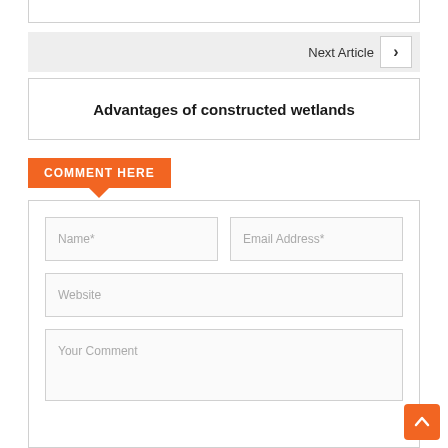Next Article ›
Advantages of constructed wetlands
COMMENT HERE
Name*
Email Address*
Website
Your Comment